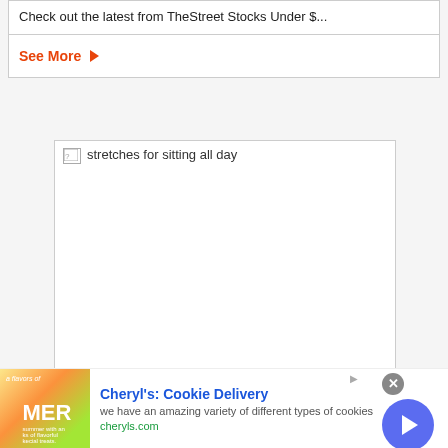Check out the latest from TheStreet Stocks Under $...
See More →
[Figure (illustration): Card with broken image placeholder labeled 'stretches for sitting all day']
These Stretches Will Help Prevent Back Pain While Worki...
Cheryl's: Cookie Delivery — we have an amazing variety of different types of cookies — cheryls.com